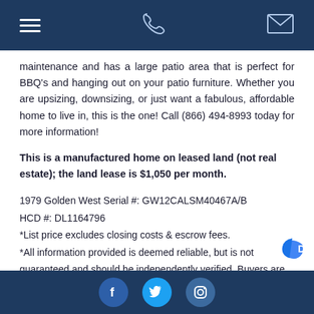[navigation header with menu, phone, and email icons]
maintenance and has a large patio area that is perfect for BBQ's and hanging out on your patio furniture. Whether you are upsizing, downsizing, or just want a fabulous, affordable home to live in, this is the one! Call (866) 494-8993 today for more information!
This is a manufactured home on leased land (not real estate); the land lease is $1,050 per month.
1979 Golden West Serial #: GW12CALSM40467A/B
HCD #: DL1164796
*List price excludes closing costs & escrow fees.
*All information provided is deemed reliable, but is not guaranteed and should be independently verified. Buyers are responsible for verifying the accuracy of all information.
[social media icons: Facebook, Twitter, Instagram]